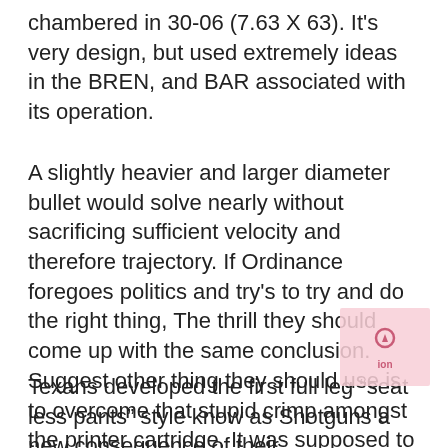chambered in 30-06 (7.63 X 63). It's very design, but used extremely ideas in the BREN, and BAR associated with its operation.
A slightly heavier and larger diameter bullet would solve nearly without sacrificing sufficient velocity and therefore trajectory. If Ordinance foregoes politics and try's to try and do the right thing, The thrill they should come up with the same conclusion. Suggest other thing they should use is to overcome that stupid crimp amongst the printer cartridge. It was supposed to stop people from shooting street cartridges in the full auto M-16, but everyone knows 410 ammo how easy it is to modify.
Texans developed the first full leg “seat less pants” style know as Shotguns a new consequence of their